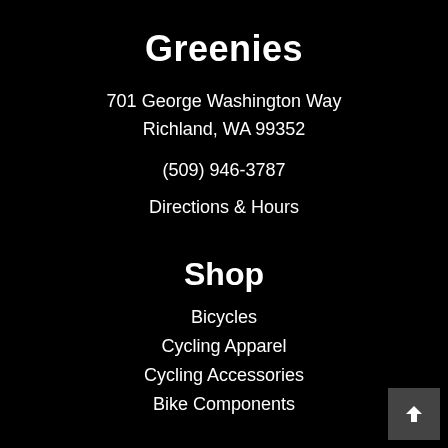Greenies
701 George Washington Way
Richland, WA 99352
(509) 946-3787
Directions & Hours
Shop
Bicycles
Cycling Apparel
Cycling Accessories
Bike Components
Information
About Us